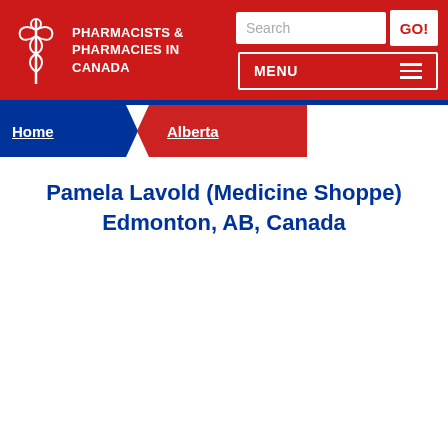PHARMACISTS & PHARMACIES IN CANADA
Home > Alberta
Pamela Lavold (Medicine Shoppe) Edmonton, AB, Canada